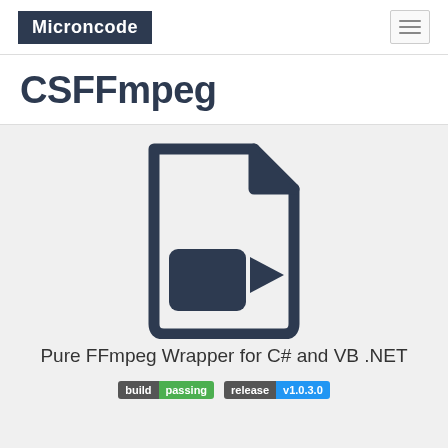Microncode
CSFFmpeg
[Figure (illustration): A file/document icon with a video camera symbol inside, rendered in dark navy/slate color on a light gray background. The icon shows a document with a folded corner at the top right and a video camera icon (rectangle with triangle) in the lower portion.]
Pure FFmpeg Wrapper for C# and VB .NET
build passing   release v1.0.3.0